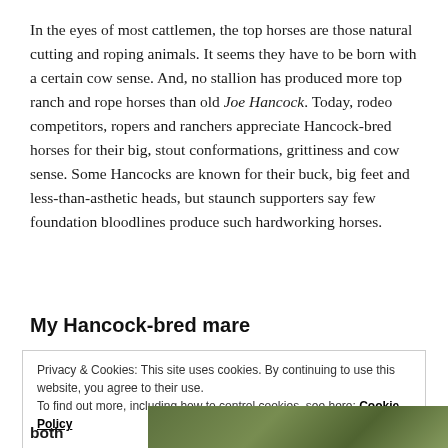In the eyes of most cattlemen, the top horses are those natural cutting and roping animals. It seems they have to be born with a certain cow sense. And, no stallion has produced more top ranch and rope horses than old Joe Hancock. Today, rodeo competitors, ropers and ranchers appreciate Hancock-bred horses for their big, stout conformations, grittiness and cow sense. Some Hancocks are known for their buck, big feet and less-than-asthetic heads, but staunch supporters say few foundation bloodlines produce such hardworking horses.
My Hancock-bred mare
Privacy & Cookies: This site uses cookies. By continuing to use this website, you agree to their use.
To find out more, including how to control cookies, see here: Cookie Policy
both
[Figure (photo): Partial photo visible at the bottom of the page showing green foliage/outdoor scene]